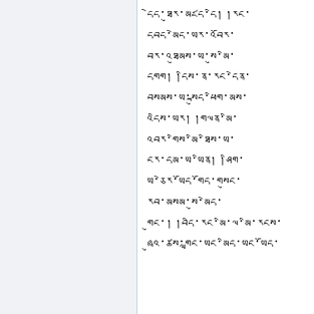དེད་ཐུར་མཛད་དི། །རང་དབད་མེད་ཡར་འབོར་བར་འཐུམས་ཡ་སུ་མི་དགག། །དིས་ན་རང་དེན་བསམས་ཡ་སྐུད་ཕིག་མས་འདིས་ཡར། །གལན་མི་འབར་གིས་མི་ཐིས་ཡ་ངར་དམ་ཡ་ཡིན། །ཤིག་ཡ་ཅེར་ཡོད་གོད་གསུང་རབ་མསམ་སུ་མེད་གུང་། །བདི་རང་མི་ལ་མི་ར་དེར་དཔེ་ར་ར། ཞུའ་ཚས་གླང་ཡང་མིད་ཡང་ཡོད་